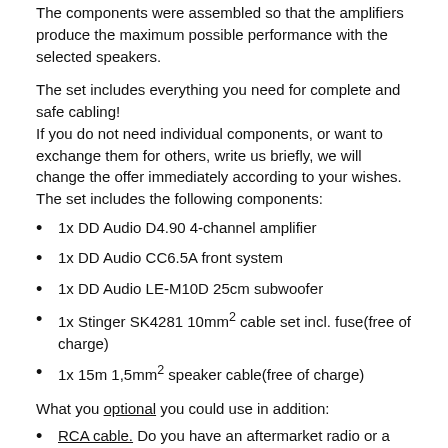The components were assembled so that the amplifiers produce the maximum possible performance with the selected speakers.
The set includes everything you need for complete and safe cabling!
If you do not need individual components, or want to exchange them for others, write us briefly, we will change the offer immediately according to your wishes.
The set includes the following components:
1x DD Audio D4.90 4-channel amplifier
1x DD Audio CC6.5A front system
1x DD Audio LE-M10D 25cm subwoofer
1x Stinger SK4281 10mm² cable set incl. fuse(free of charge)
1x 15m 1,5mm² speaker cable(free of charge)
What you optional you could use in addition:
RCA cable. Do you have an aftermarket radio or a factory radio? For an aftermarket radio you need the appropriate number of RCA cables, which you can find